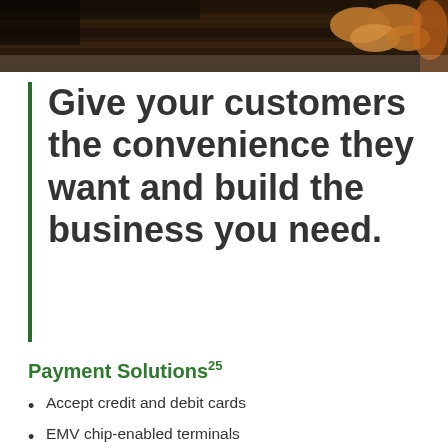[Figure (photo): Photo banner at top of page showing croissants or baked goods on a wooden surface with warm tones]
Give your customers the convenience they want and build the business you need.
Payment Solutions25
Accept credit and debit cards
EMV chip-enabled terminals
Variety of payment solutions available, including mobile options